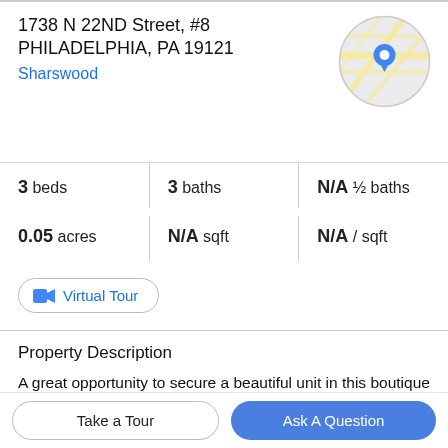1738 N 22ND Street, #8
PHILADELPHIA, PA 19121
Sharswood
[Figure (map): Circular map thumbnail showing street map with blue location pin marker]
3 beds   3 baths   N/A ½ baths
0.05 acres   N/A sqft   N/A / sqft
Virtual Tour
Property Description
A great opportunity to secure a beautiful unit in this boutique 10-unit new construction building! Completed in early 2022, this community offers 2 and 3 bedroom layouts, shared outdoor space, exterior security cameras,
Take a Tour
Ask A Question